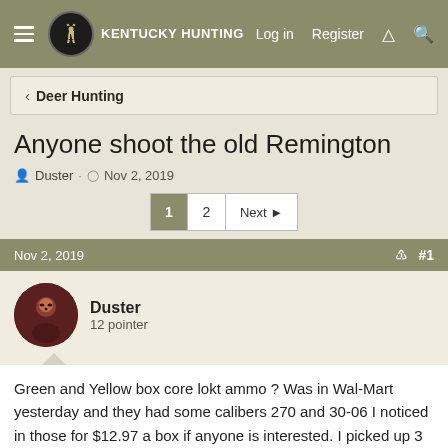Kentucky Hunting — Log in  Register
< Deer Hunting
Anyone shoot the old Remington
Duster · Nov 2, 2019
1  2  Next
Nov 2, 2019  #1
Duster
12 pointer
Green and Yellow box core lokt ammo ? Was in Wal-Mart yesterday and they had some calibers 270 and 30-06 I noticed in those for $12.97 a box if anyone is interested. I picked up 3 boxes of 30-06 in the 150 grain bullets. May break out the